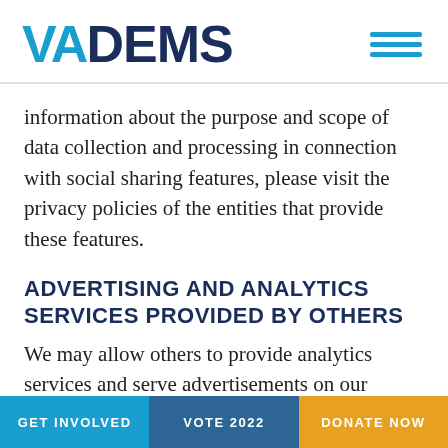VADEMS
information about the purpose and scope of data collection and processing in connection with social sharing features, please visit the privacy policies of the entities that provide these features.
ADVERTISING AND ANALYTICS SERVICES PROVIDED BY OTHERS
We may allow others to provide analytics services and serve advertisements on our
GET INVOLVED   VOTE 2022   DONATE NOW